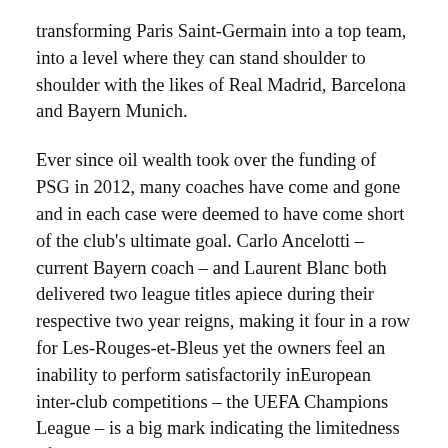transforming Paris Saint-Germain into a top team, into a level where they can stand shoulder to shoulder with the likes of Real Madrid, Barcelona and Bayern Munich.
Ever since oil wealth took over the funding of PSG in 2012, many coaches have come and gone and in each case were deemed to have come short of the club's ultimate goal. Carlo Ancelotti – current Bayern coach – and Laurent Blanc both delivered two league titles apiece during their respective two year reigns, making it four in a row for Les-Rouges-et-Bleus yet the owners feel an inability to perform satisfactorily inEuropean inter-club competitions – the UEFA Champions League – is a big mark indicating the limitedness of the coach in charge.
Not that they are wrong though, after all they've done their bit in ensuring funds are provided for the coaches to